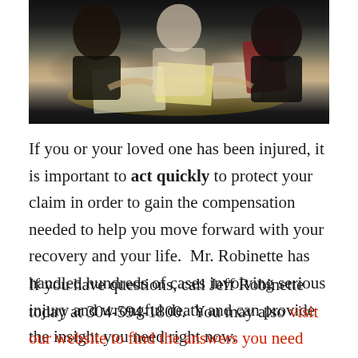[Figure (photo): Photo of people around a table reviewing documents, appears to be a legal consultation or meeting scene]
If you or your loved one has been injured, it is important to act quickly to protect your claim in order to gain the compensation needed to help you move forward with your recovery and your life.  Mr. Robinette has handled hundreds of cases involving serious injury and wrongful death and can provide the insight you need right now.
If you have questions, call Jeff Robinette today at 304-594-1800.  You may also visit our website to find the answers you need today.  You don't have to handle this